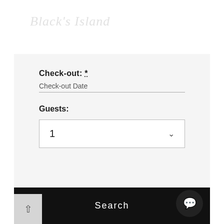Black's Island
Check-out: *
Check-out Date
Guests:
1
Search